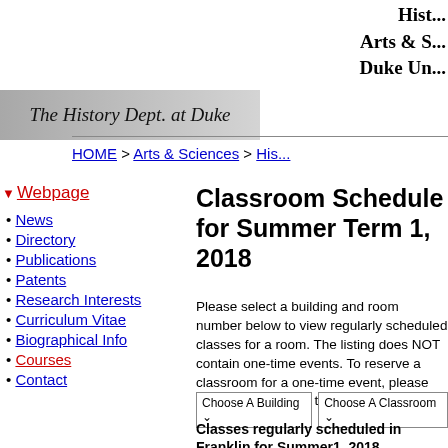Hist... Arts & S... Duke Un...
[Figure (logo): The History Dept. at Duke - stylized italic script logo on grey gradient background]
HOME > Arts & Sciences > His...
Webpage
News
Directory
Publications
Patents
Research Interests
Curriculum Vitae
Biographical Info
Courses
Contact
Classroom Schedule for Summer Term 1, 2018
Please select a building and room number below to view regularly scheduled classes for a room. The listing does NOT contain one-time events. To reserve a classroom for a one-time event, please submit a request to the Student Services Center.
Choose A Building  Choose A Classroom
Classes regularly scheduled in Franklin for Summer1, 2018
| Day |
| --- |
| MON |
| TUES |
| WED |
| THURS |